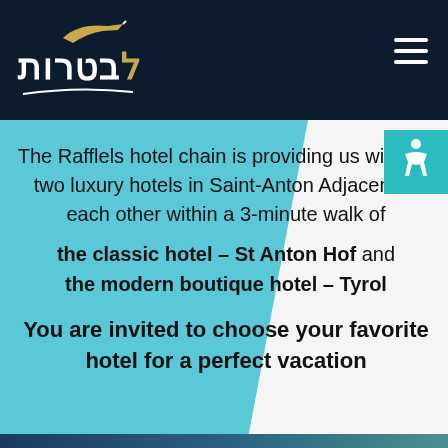[Figure (logo): Hebrew travel company logo with white Hebrew text and gold accent, plane icon above, on dark navy background]
The Rafflels hotel chain is providing us with the two luxury hotels in Saint-Anton Adjacent to each other within a 3-minute walk of the classic hotel – St Anton Hof and the modern boutique hotel – Tyrol

You are invited to choose your favorite hotel for a perfect vacation